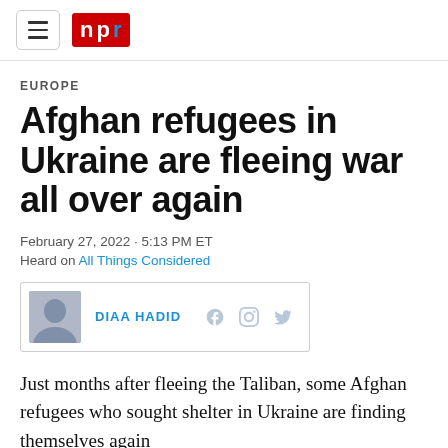NPR
EUROPE
Afghan refugees in Ukraine are fleeing war all over again
February 27, 2022 · 5:13 PM ET
Heard on All Things Considered
DIAA HADID
Just months after fleeing the Taliban, some Afghan refugees who sought shelter in Ukraine are finding themselves again